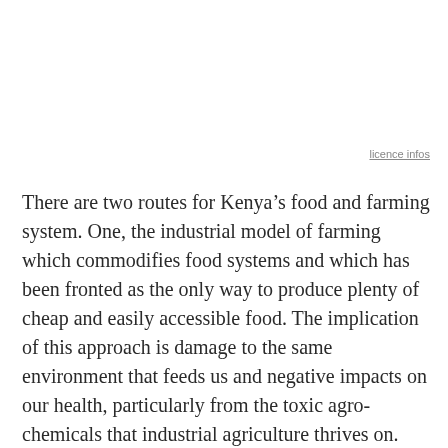licence infos
There are two routes for Kenya’s food and farming system. One, the industrial model of farming which commodifies food systems and which has been fronted as the only way to produce plenty of cheap and easily accessible food. The implication of this approach is damage to the same environment that feeds us and negative impacts on our health, particularly from the toxic agro-chemicals that industrial agriculture thrives on.
The other route is a more sustainable form of